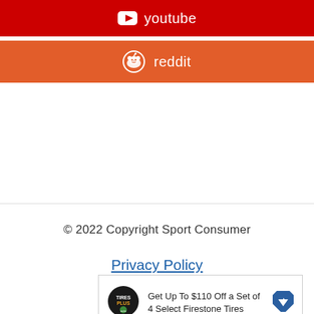[Figure (logo): YouTube button/link bar — red background with white YouTube play button icon and text 'youtube']
[Figure (logo): Reddit button/link bar — orange-red background with white Reddit alien icon and text 'reddit']
© 2022 Copyright Sport Consumer
Privacy Policy
[Figure (other): Advertisement: Tires Plus Auto logo, text 'Get Up To $110 Off a Set of 4 Select Firestone Tires', navigation arrow icon, play and close icons]